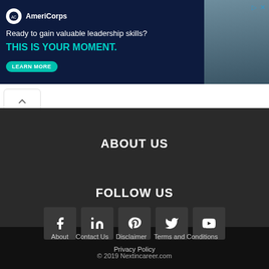[Figure (screenshot): AmeriCorps advertisement banner with dark navy background, logo, tagline 'Ready to gain valuable leadership skills?', 'THIS IS YOUR MOMENT.' in teal, and a LEARN MORE button. Right side shows a photo of young people.]
ABOUT US
FOLLOW US
[Figure (infographic): Row of five social media icon boxes: Facebook, LinkedIn, Pinterest, Twitter, YouTube]
About   Contact Us   Disclaimer   Terms and Conditions   Privacy Policy
© 2019 Nextincareer.com